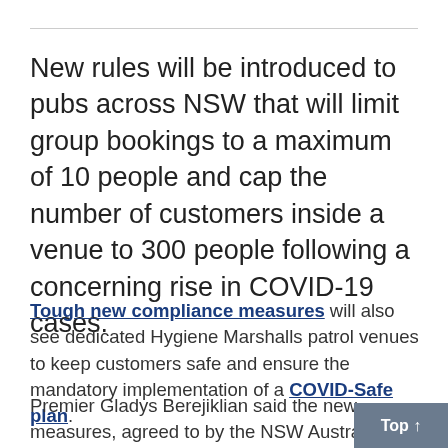New rules will be introduced to pubs across NSW that will limit group bookings to a maximum of 10 people and cap the number of customers inside a venue to 300 people following a concerning rise in COVID-19 cases.
Tough new compliance measures will also see dedicated Hygiene Marshalls patrol venues to keep customers safe and ensure the mandatory implementation of a COVID-Safe plan.
Premier Gladys Berejiklian said the new measures, agreed to by the NSW Australian Hotels Association,